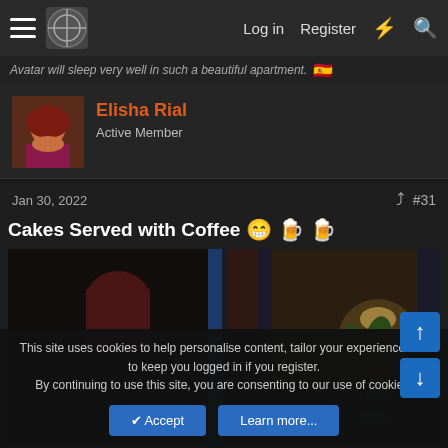Log in  Register
Avatar will sleep very well in such a beautiful apartment.
Elisha Rial
Active Member
Jan 30, 2022  #31
Cakes Served with Coffee
[Figure (screenshot): In-game screenshot showing a female avatar with red hair in a dark interior room setting with a plant and lamp]
This site uses cookies to help personalise content, tailor your experience and to keep you logged in if you register.
By continuing to use this site, you are consenting to our use of cookies.
Accept  Learn more...